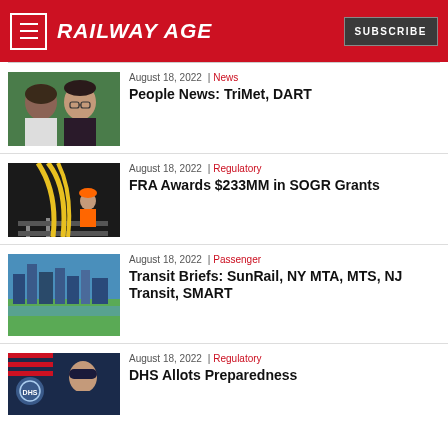RAILWAY AGE | SUBSCRIBE
August 18, 2022 | News
People News: TriMet, DART
August 18, 2022 | Regulatory
FRA Awards $233MM in SOGR Grants
August 18, 2022 | Passenger
Transit Briefs: SunRail, NY MTA, MTS, NJ Transit, SMART
August 18, 2022 | Regulatory
DHS Allots Preparedness